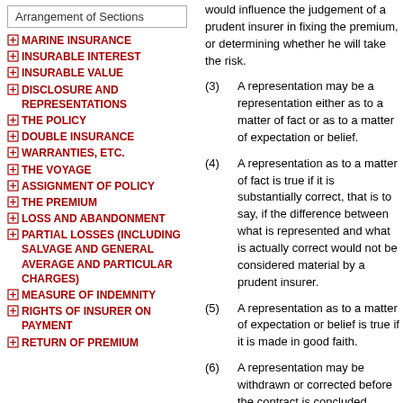Arrangement of Sections
MARINE INSURANCE
INSURABLE INTEREST
INSURABLE VALUE
DISCLOSURE AND REPRESENTATIONS
THE POLICY
DOUBLE INSURANCE
WARRANTIES, ETC.
THE VOYAGE
ASSIGNMENT OF POLICY
THE PREMIUM
LOSS AND ABANDONMENT
PARTIAL LOSSES (INCLUDING SALVAGE AND GENERAL AVERAGE AND PARTICULAR CHARGES)
MEASURE OF INDEMNITY
RIGHTS OF INSURER ON PAYMENT
RETURN OF PREMIUM
would influence the judgement of a prudent insurer in fixing the premium, or determining whether he will take the risk.
(3) A representation may be a representation either as to a matter of fact or as to a matter of expectation or belief.
(4) A representation as to a matter of fact is true if it is substantially correct, that is to say, if the difference between what is represented and what is actually correct would not be considered material by a prudent insurer.
(5) A representation as to a matter of expectation or belief is true if it is made in good faith.
(6) A representation may be withdrawn or corrected before the contract is concluded.